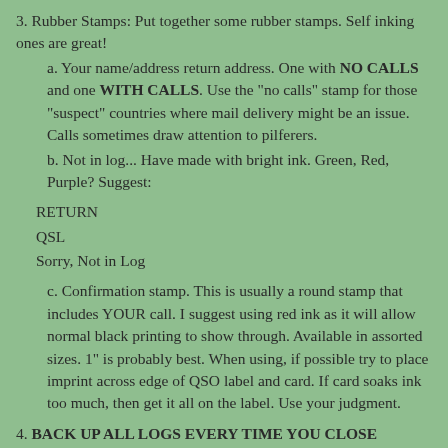3. Rubber Stamps: Put together some rubber stamps. Self inking ones are great!
a. Your name/address return address. One with NO CALLS and one WITH CALLS. Use the "no calls" stamp for those "suspect" countries where mail delivery might be an issue. Calls sometimes draw attention to pilferers.
b. Not in log... Have made with bright ink. Green, Red, Purple? Suggest:
RETURN
QSL
Sorry, Not in Log
c. Confirmation stamp. This is usually a round stamp that includes YOUR call. I suggest using red ink as it will allow normal black printing to show through. Available in assorted sizes. 1" is probably best. When using, if possible try to place imprint across edge of QSO label and card. If card soaks ink too much, then get it all on the label. Use your judgment.
4. BACK UP ALL LOGS EVERY TIME YOU CLOSE DOWN!